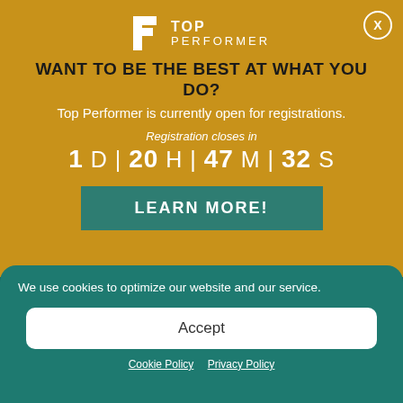[Figure (logo): Top Performer logo: white P icon with TOP PERFORMER text in white]
WANT TO BE THE BEST AT WHAT YOU DO?
Top Performer is currently open for registrations.
Registration closes in
1 D | 20 H | 47 M | 32 S
LEARN MORE!
We use cookies to optimize our website and our service.
Accept
Cookie Policy   Privacy Policy